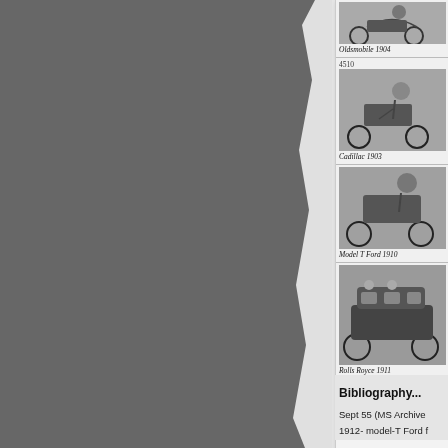[Figure (photo): Left portion of page showing a torn gray background]
[Figure (illustration): Partial view of a document/catalog page showing vintage automobiles: Oldsmobile 1904, Cadillac 1903 (number 4510), Model T Ford 1910, Rolls Royce 1911, with telephone and cables/telegrams text at bottom]
Bibliography...
Sept 55 (MS Archive
1912- model-T Ford f